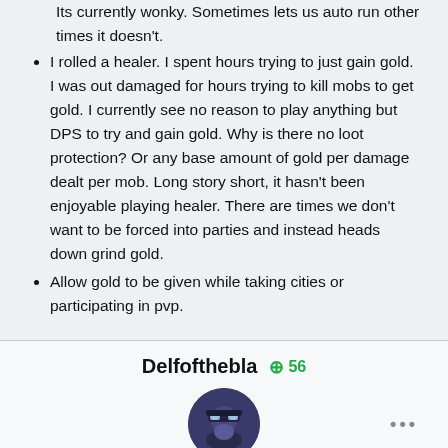Its currently wonky. Sometimes lets us auto run other times it doesn't.
I rolled a healer. I spent hours trying to just gain gold. I was out damaged for hours trying to kill mobs to get gold. I currently see no reason to play anything but DPS to try and gain gold. Why is there no loot protection? Or any base amount of gold per damage dealt per mob. Long story short, it hasn't been enjoyable playing healer. There are times we don't want to be forced into parties and instead heads down grind gold.
Allow gold to be given while taking cities or participating in pvp.
Delfofthebla
+ 56
[Figure (photo): Circular avatar image of user Delfofthebla showing a character with helmet]
Why isn't there a "Sacrifice Item" Or "Crafting Item" category in our vault?